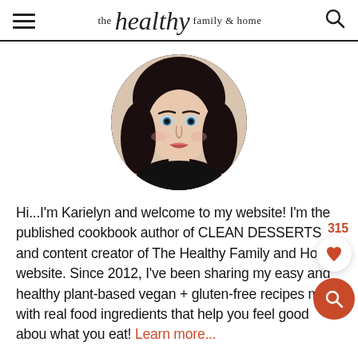the healthy family & home
[Figure (photo): Circular profile photo of a woman with dark shoulder-length hair, pale skin, and blue eyes, wearing a black top, set against a white background.]
Hi...I'm Karielyn and welcome to my website! I'm the published cookbook author of CLEAN DESSERTS and content creator of The Healthy Family and Home website. Since 2012, I've been sharing my easy and healthy plant-based vegan + gluten-free recipes made with real food ingredients that help you feel good about what you eat! Learn more...